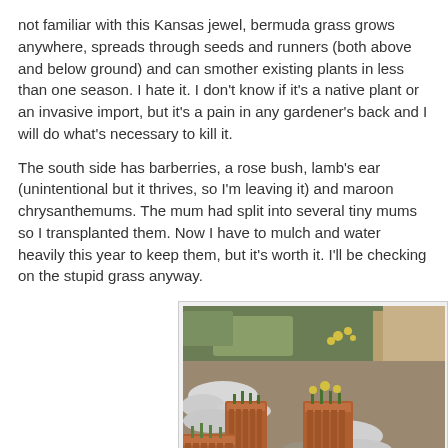not familiar with this Kansas jewel, bermuda grass grows anywhere, spreads through seeds and runners (both above and below ground) and can smother existing plants in less than one season. I hate it. I don't know if it's a native plant or an invasive import, but it's a pain in any gardener's back and I will do what's necessary to kill it.
The south side has barberries, a rose bush, lamb's ear (unintentional but it thrives, so I'm leaving it) and maroon chrysanthemums. The mum had split into several tiny mums so I transplanted them. Now I have to mulch and water heavily this year to keep them, but it's worth it. I'll be checking on the stupid grass anyway.
[Figure (photo): A garden scene viewed from above showing terracotta/brick planter boxes, decorative white rocks/gravel, stepping stones, and various plants growing in an outdoor garden space.]